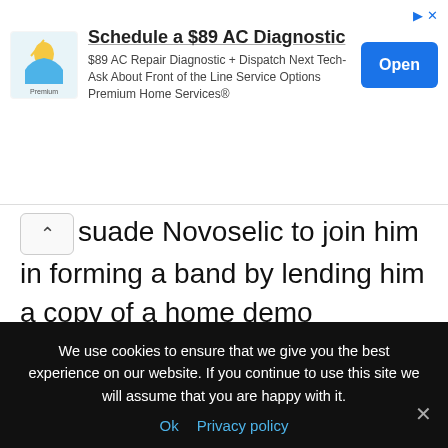[Figure (screenshot): Advertisement banner: 'Schedule a $89 AC Diagnostic' with Premium Home Services logo, Open button, and ad indicators]
suade Novoselic to join him in forming a band by lending him a copy of a home demo recorded by Fecal Matter.
After months of pleading, Novoselic ultimately consented to join Cobain in founding Nirvana. During this period, religion appeared to be a significant muse for Cobain, as he frequently
We use cookies to ensure that we give you the best experience on our website. If you continue to use this site we will assume that you are happy with it.
Ok   Privacy policy